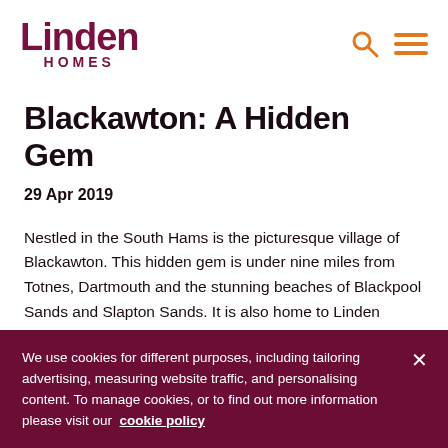Linden HOMES
Blackawton: A Hidden Gem
29 Apr 2019
Nestled in the South Hams is the picturesque village of Blackawton. This hidden gem is under nine miles from Totnes, Dartmouth and the stunning beaches of Blackpool Sands and Slapton Sands. It is also home to Linden Homes' French Furze
We use cookies for different purposes, including tailoring advertising, measuring website traffic, and personalising content. To manage cookies, or to find out more information please visit our cookie policy